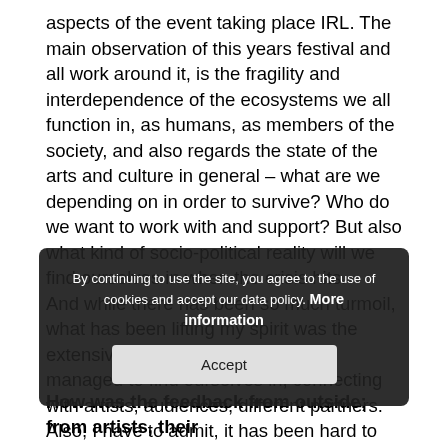aspects of the event taking place IRL. The main observation of this years festival and all work around it, is the fragility and interdependence of the ecosystems we all function in, as humans, as members of the society, and also regards the state of the arts and culture in general – what are we depending on in order to survive? Who do we want to work with and support? But also what kind of socio-political reality will we find ourselves in when the crisis hits.
And while there has been so much turmoil, what has been lifting my spirit was the extensive support network we have managed to find ourselves in, connecting with artists, audiences, different partners.
Also, I have to admit, it has been hard to focus on work and going on with planned announcements and activities looking at the political situation in Poland. Firstly with the rise of hate speech against LGBTQ+ people, then the shocking anti-abortion legislation and all the protest that keeps on following while the new cases and deaths are rising, economic records.
By continuing to use the site, you agree to the use of cookies and accept our data policy. More information
Accept
How was the feedback from outside; from artists, their